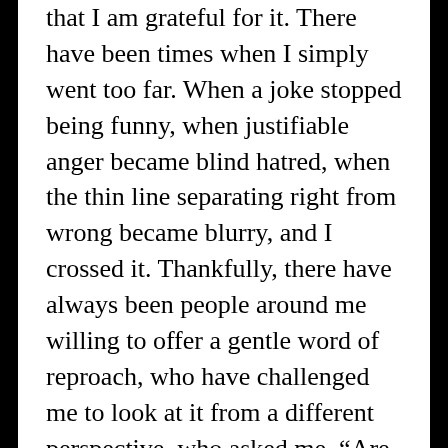that I am grateful for it. There have been times when I simply went too far. When a joke stopped being funny, when justifiable anger became blind hatred, when the thin line separating right from wrong became blurry, and I crossed it. Thankfully, there have always been people around me willing to offer a gentle word of reproach, who have challenged me to look at it from a different perspective, who asked me, “Are you aware of the consequences of this path?” or who simply said, “Stop it. This is wrong. If you continue, I won’t be your friend any longer.” We need that censure sometimes. If we could do it ourselves, no